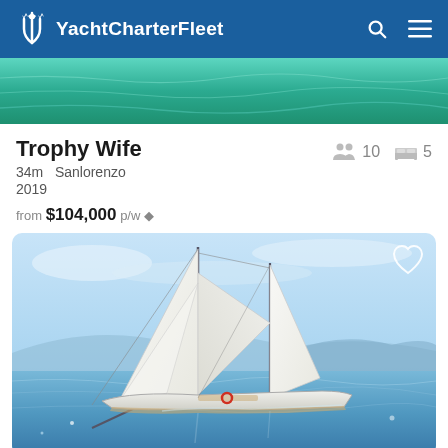YachtCharterFleet
[Figure (photo): Partial aerial/top view of turquoise ocean water from a yacht listing]
Trophy Wife
34m  Sanlorenzo
2019
from $104,000 p/w *
10 guests  5 cabins
[Figure (photo): White two-masted sailing schooner yacht sailing on calm blue water with mountains in background]